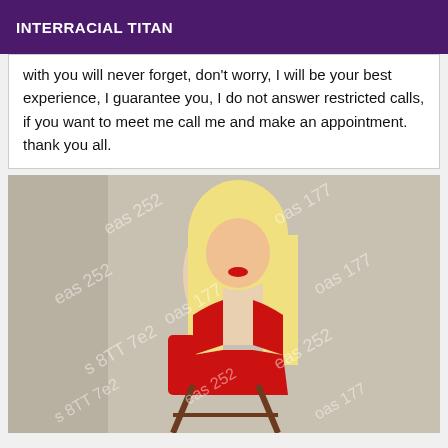INTERRACIAL TITAN
with you will never forget, don't worry, I will be your best experience, I guarantee you, I do not answer restricted calls, if you want to meet me call me and make an appointment. thank you all.
[Figure (photo): A blonde woman in red lingerie posing with a chair, with watermark text overlaid on the image]